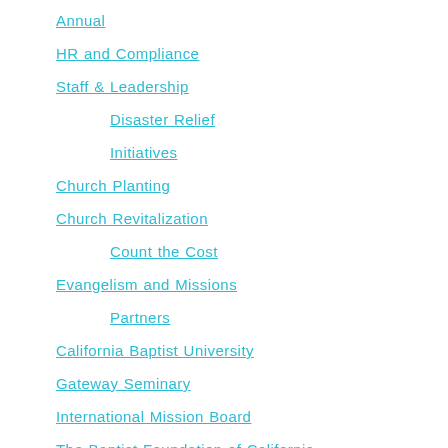Annual
HR and Compliance
Staff & Leadership
Disaster Relief
Initiatives
Church Planting
Church Revitalization
Count the Cost
Evangelism and Missions
Partners
California Baptist University
Gateway Seminary
International Mission Board
The Baptist Foundation of California
SBC
Uncategorized